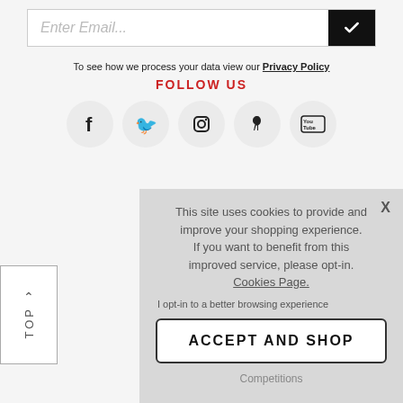[Figure (other): Email input field with placeholder 'Enter Email...' and a black submit button with a white checkmark]
To see how we process your data view our Privacy Policy
FOLLOW US
[Figure (other): Row of five social media icons in grey circles: Facebook, Twitter, Instagram, Pinterest, YouTube]
[Figure (other): Cookie consent modal overlay with message: 'This site uses cookies to provide and improve your shopping experience. If you want to benefit from this improved service, please opt-in. Cookies Page.' and 'I opt-in to a better browsing experience', with ACCEPT AND SHOP button and X close button]
Competitions